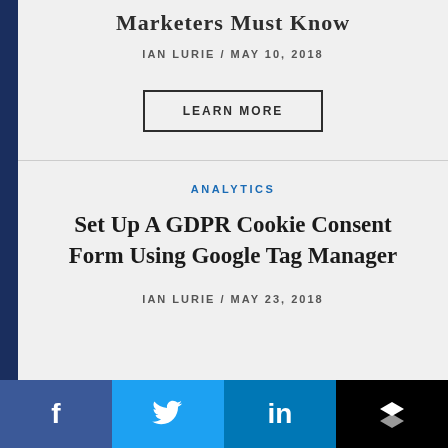Marketers Must Know
IAN LURIE / MAY 10, 2018
LEARN MORE
ANALYTICS
Set Up A GDPR Cookie Consent Form Using Google Tag Manager
IAN LURIE / MAY 23, 2018